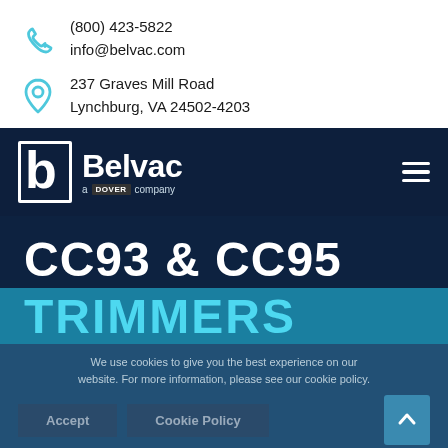(800) 423-5822
info@belvac.com
237 Graves Mill Road
Lynchburg, VA 24502-4203
[Figure (logo): Belvac logo — white B icon on dark navy background, 'Belvac' wordmark in white, 'a DOVER company' subtitle]
CC93 & CC95
TRIMMERS
We use cookies to give you the best experience on our website. For more information, please see our cookie policy.
Accept
Cookie Policy